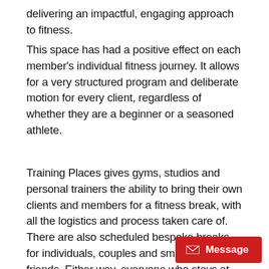delivering an impactful, engaging approach to fitness.
This space has had a positive effect on each member's individual fitness journey. It allows for a very structured program and deliberate motion for every client, regardless of whether they are a beginner or a seasoned athlete.
Training Places gives gyms, studios and personal trainers the ability to bring their own clients and members for a fitness break, with all the logistics and process taken care of. There are also scheduled bespoke breaks for individuals, couples and small groups of friends. Either way, everyone who stays at the Training Places villa and uses the rooftop fitness space values both the unique setting and acces... fantastic range of innovative training tools.